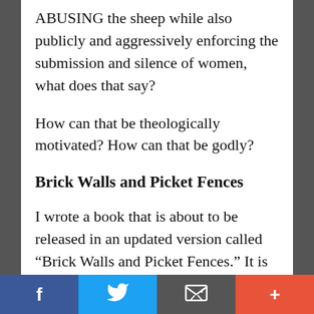ABUSING the sheep while also publicly and aggressively enforcing the submission and silence of women, what does that say?
How can that be theologically motivated? How can that be godly?
Brick Walls and Picket Fences
I wrote a book that is about to be released in an updated version called “Brick Walls and Picket Fences.” It is one version of what is called doctrinal triage. Some resist the notion, but we all practice it. It is helpful
Facebook | Twitter | Email | More